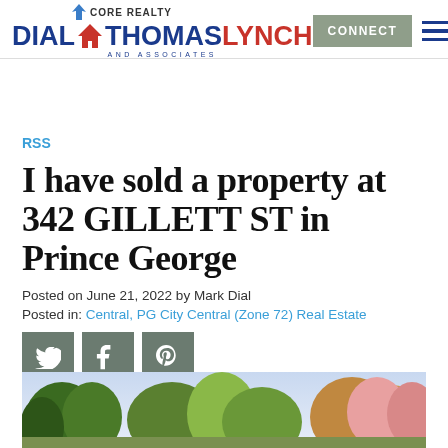CORE REALTY — DIAL THOMAS LYNCH AND ASSOCIATES — CONNECT
RSS
I have sold a property at 342 GILLETT ST in Prince George
Posted on June 21, 2022 by Mark Dial
Posted in: Central, PG City Central (Zone 72) Real Estate
[Figure (other): Social sharing icons: Twitter, Facebook, Pinterest]
[Figure (photo): Property photo showing trees and exterior of home at 342 Gillett St, Prince George]